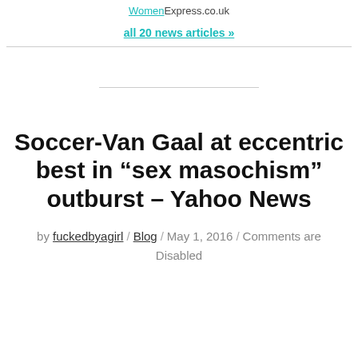WomenExpress.co.uk
all 20 news articles »
Soccer-Van Gaal at eccentric best in “sex masochism” outburst – Yahoo News
by fuckedbyagirl / Blog / May 1, 2016 / Comments are Disabled